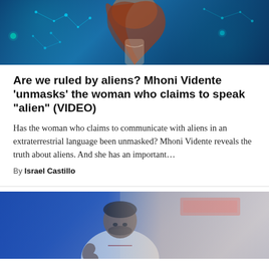[Figure (photo): Woman with long auburn/red hair against a blue cosmic/constellation background]
Are we ruled by aliens? Mhoni Vidente 'unmasks' the woman who claims to speak "alien" (VIDEO)
Has the woman who claims to communicate with aliens in an extraterrestrial language been unmasked? Mhoni Vidente reveals the truth about aliens. And she has an important…
By Israel Castillo
[Figure (photo): Basketball player in a white jersey looking down, with a blue arena background]